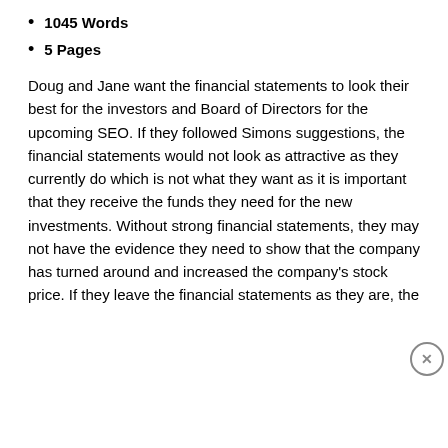1045 Words
5 Pages
Doug and Jane want the financial statements to look their best for the investors and Board of Directors for the upcoming SEO. If they followed Simons suggestions, the financial statements would not look as attractive as they currently do which is not what they want as it is important that they receive the funds they need for the new investments. Without strong financial statements, they may not have the evidence they need to show that the company has turned around and increased the company's stock price. If they leave the financial statements as they are, the